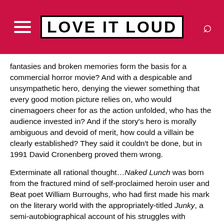LOVE IT LOUD
fantasies and broken memories form the basis for a commercial horror movie? And with a despicable and unsympathetic hero, denying the viewer something that every good motion picture relies on, who would cinemagoers cheer for as the action unfolded, who has the audience invested in? And if the story's hero is morally ambiguous and devoid of merit, how could a villain be clearly established? They said it couldn't be done, but in 1991 David Cronenberg proved them wrong.
Exterminate all rational thought…Naked Lunch was born from the fractured mind of self-proclaimed heroin user and Beat poet William Burroughs, who had first made his mark on the literary world with the appropriately-titled Junky, a semi-autobiographical account of his struggles with addiction. He had never fancied himself as an author but at the behest of his friend and contemporary Allen Ginsberg put his random musings and anecdotes to paper to unexpected acclaim. Following the completion of the equally notorious Queer, Naked Lunch saw the writer transferring his own demons and vices into its amoral